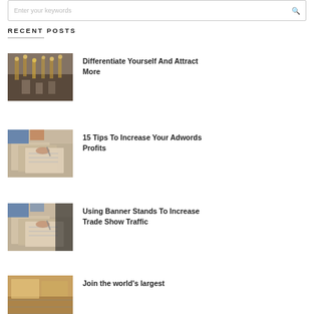RECENT POSTS
Differentiate Yourself And Attract More
15 Tips To Increase Your Adwords Profits
Using Banner Stands To Increase Trade Show Traffic
Join the world's largest